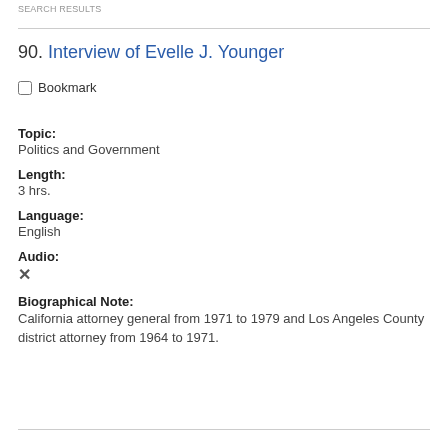SEARCH RESULTS
90. Interview of Evelle J. Younger
Bookmark
Topic: Politics and Government
Length: 3 hrs.
Language: English
Audio: ✗
Biographical Note: California attorney general from 1971 to 1979 and Los Angeles County district attorney from 1964 to 1971.